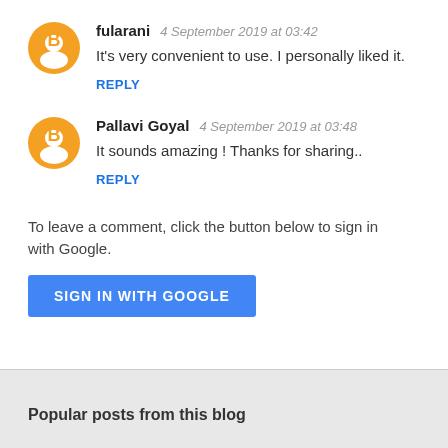fularani   4 September 2019 at 03:42
It's very convenient to use. I personally liked it.
REPLY
Pallavi Goyal   4 September 2019 at 03:48
It sounds amazing ! Thanks for sharing..
REPLY
To leave a comment, click the button below to sign in with Google.
SIGN IN WITH GOOGLE
Popular posts from this blog